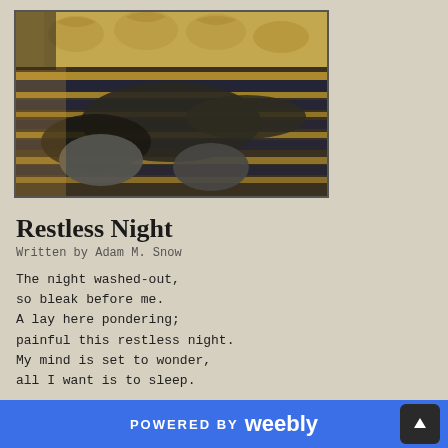[Figure (photo): A person lying on a bed in dark clothing and socks, photographed from the foot of the bed, with patterned bedding in blue, gold, and black stripes, and ornate wallpaper visible in the background.]
Restless Night
Written by Adam M. Snow
The night washed-out,
so bleak before me.
A lay here pondering;
painful this restless night.
My mind is set to wonder,
all I want is to sleep.
POWERED BY weebly